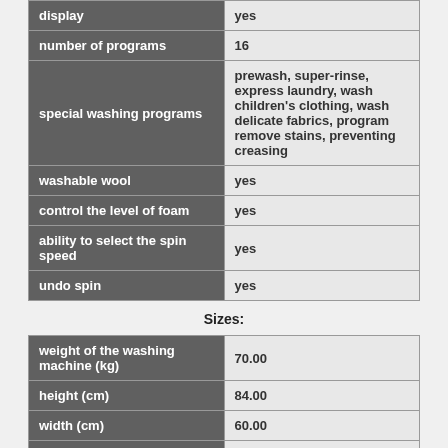| feature | value |
| --- | --- |
| display | yes |
| number of programs | 16 |
| special washing programs | prewash, super-rinse, express laundry, wash children's clothing, wash delicate fabrics, program remove stains, preventing creasing |
| washable wool | yes |
| control the level of foam | yes |
| ability to select the spin speed | yes |
| undo spin | yes |
Sizes:
| feature | value |
| --- | --- |
| weight of the washing machine (kg) | 70.00 |
| height (cm) | 84.00 |
| width (cm) | 60.00 |
| depth (cm) | 54.00 |
Efficiency and power consumption:
| feature | value |
| --- | --- |
| wash class | A |